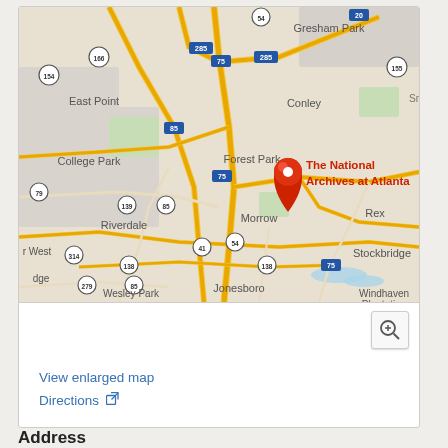[Figure (map): Google Map showing the Atlanta, GA area with a red location pin for The National Archives at Atlanta, near Forest Park/Morrow area. Visible place names include East Point, College Park, Gresham Park, Conley, Forest Park, Morrow, Rex, Riverdale, Jonesboro, Wesley Park, Stockbridge, Windhaven Plantation. Highway labels include 75, 85, 285, 20, 155, 154, 166, 54, 41, 138, 279, 314, 139.]
View enlarged map
Directions
Address